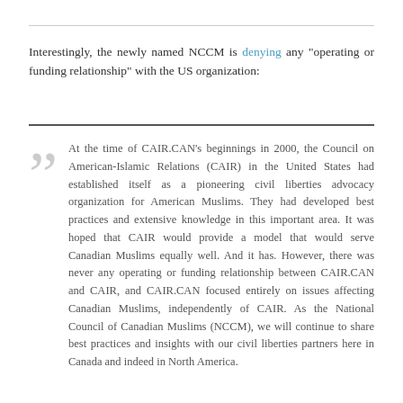Interestingly, the newly named NCCM is denying any "operating or funding relationship" with the US organization:
At the time of CAIR.CAN's beginnings in 2000, the Council on American-Islamic Relations (CAIR) in the United States had established itself as a pioneering civil liberties advocacy organization for American Muslims. They had developed best practices and extensive knowledge in this important area. It was hoped that CAIR would provide a model that would serve Canadian Muslims equally well. And it has. However, there was never any operating or funding relationship between CAIR.CAN and CAIR, and CAIR.CAN focused entirely on issues affecting Canadian Muslims, independently of CAIR. As the National Council of Canadian Muslims (NCCM), we will continue to share best practices and insights with our civil liberties partners here in Canada and indeed in North America.